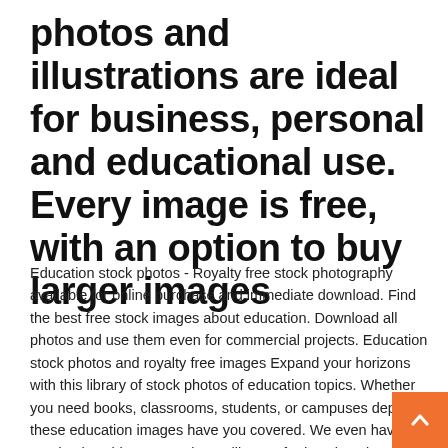photos and illustrations are ideal for business, personal and educational use. Every image is free, with an option to buy larger images
Education stock photos - Royalty free stock photography available for online purchase and immediate download. Find the best free stock images about education. Download all photos and use them even for commercial projects. Education stock photos and royalty free images Expand your horizons with this library of stock photos of education topics. Whether you need books, classrooms, students, or campuses depicted these education images have you covered. We even have academic subject matter in our library of education pictures.